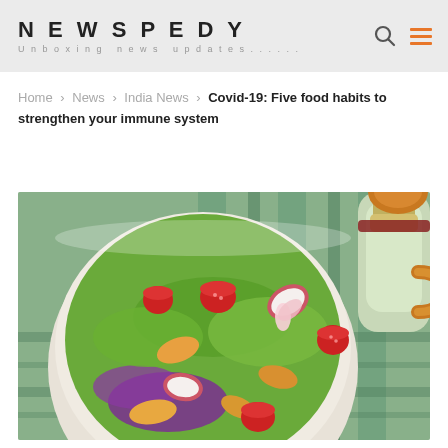NEWSPEDY — Unboxing news updates......
Home > News > India News > Covid-19: Five food habits to strengthen your immune system
[Figure (photo): Overhead view of a fresh salad bowl with cherry tomatoes, pasta, mixed greens, radishes, and a dressing bottle on a striped surface]